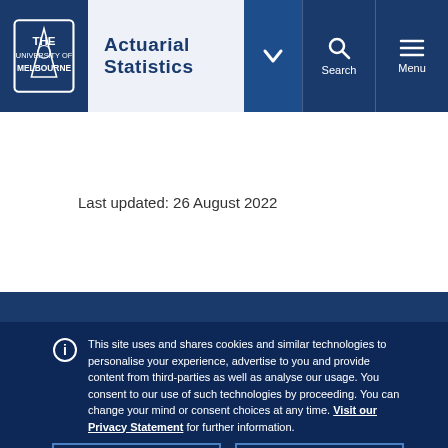Actuarial Statistics
Last updated: 26 August 2022
This site uses and shares cookies and similar technologies to personalise your experience, advertise to you and provide content from third-parties as well as analyse our usage. You consent to our use of such technologies by proceeding. You can change your mind or consent choices at any time. Visit our Privacy Statement for further information.
Accept cookies
Cookie Preferences